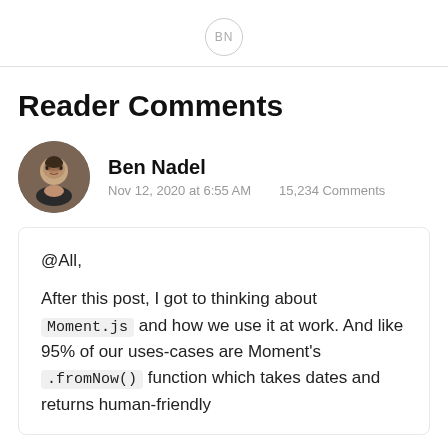BN
Reader Comments
Ben Nadel
Nov 12, 2020 at 6:55 AM    15,234 Comments
@All,

After this post, I got to thinking about Moment.js and how we use it at work. And like 95% of our uses-cases are Moment's .fromNow() function which takes dates and returns human-friendly